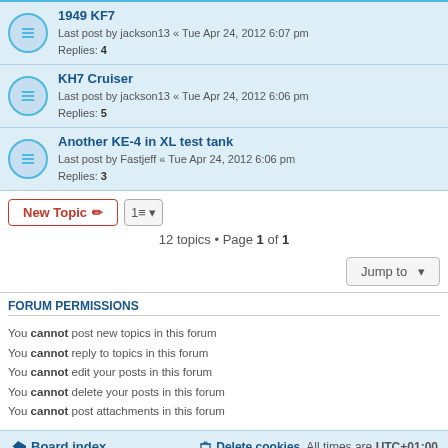1949 KF7 — Last post by jackson13 « Tue Apr 24, 2012 6:07 pm — Replies: 4
KH7 Cruiser — Last post by jackson13 « Tue Apr 24, 2012 6:06 pm — Replies: 5
Another KE-4 in XL test tank — Last post by Fastjeff « Tue Apr 24, 2012 6:06 pm — Replies: 3
12 topics • Page 1 of 1
FORUM PERMISSIONS
You cannot post new topics in this forum
You cannot reply to topics in this forum
You cannot edit your posts in this forum
You cannot delete your posts in this forum
You cannot post attachments in this forum
Board index | Delete cookies | All times are UTC+01:00
Powered by phpBB® Forum Software © phpBB Limited
Privacy | Terms